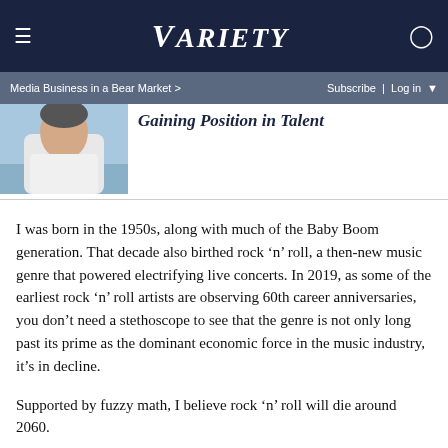VARIETY
Media Business in a Bear Market >  Subscribe | Log in
[Figure (photo): Partial photo of a person in a white shirt, cropped to show head and shoulder area]
Gaining Position in Talent
I was born in the 1950s, along with much of the Baby Boom generation. That decade also birthed rock ‘n’ roll, a then-new music genre that powered electrifying live concerts. In 2019, as some of the earliest rock ‘n’ roll artists are observing 60th career anniversaries, you don’t need a stethoscope to see that the genre is not only long past its prime as the dominant economic force in the music industry, it’s in decline.
Supported by fuzzy math, I believe rock ‘n’ roll will die around 2060.
In the early 2000s, digital recording technologies and channels of distribution (i.e. downloads and then streaming)